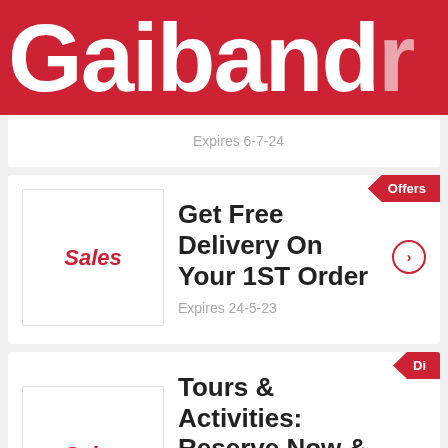Gaiband
Expires 6-7-24
[Figure (logo): Sales box placeholder image]
Get Free Delivery On Your 1ST Order
Expires 24-5-23
[Figure (logo): Sales box placeholder image]
Tours & Activities: Reserve Now & Pay Later